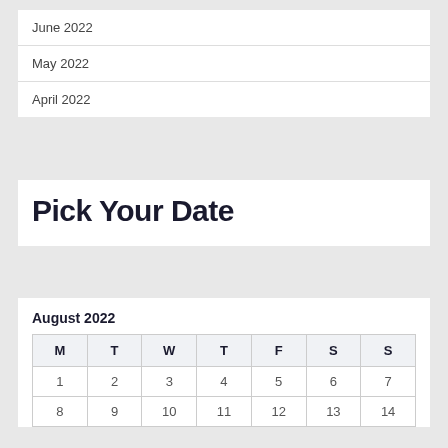June 2022
May 2022
April 2022
Pick Your Date
August 2022
| M | T | W | T | F | S | S |
| --- | --- | --- | --- | --- | --- | --- |
| 1 | 2 | 3 | 4 | 5 | 6 | 7 |
| 8 | 9 | 10 | 11 | 12 | 13 | 14 |